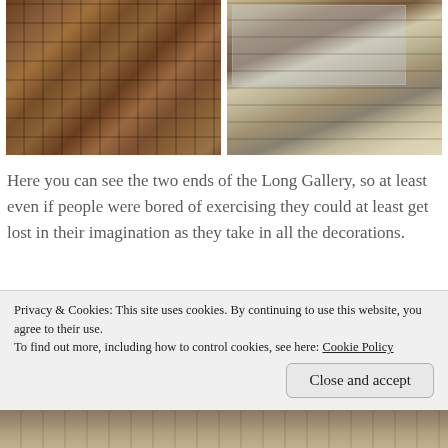[Figure (photo): Two photos side by side showing the two ends of a Long Gallery with wooden paneled walls. Left photo shows close-up of dark wooden panel grid. Right photo shows interior perspective with wooden floor, paneled walls, and large multi-pane windows at the far end.]
Here you can see the two ends of the Long Gallery, so at least even if people were bored of exercising they could at least get lost in their imagination as they take in all the decorations.
Not sure if anyone noticed from the photo of the Long
Privacy & Cookies: This site uses cookies. By continuing to use this website, you agree to their use.
To find out more, including how to control cookies, see here: Cookie Policy
Close and accept
[Figure (photo): Partial view of a photo at the bottom of the page showing interior architectural details.]